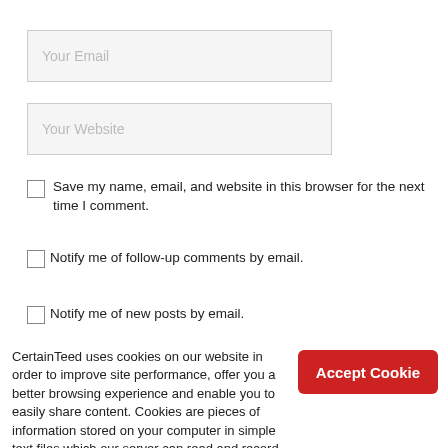Your Email
Your Website
Save my name, email, and website in this browser for the next time I comment.
Notify me of follow-up comments by email.
Notify me of new posts by email.
CertainTeed uses cookies on our website in order to improve site performance, offer you a better browsing experience and enable you to easily share content. Cookies are pieces of information stored on your computer in simple text files which our server can read and record. These files do not contain any sensitive information. By continuing to browse our site, you agree to the use of cookies. For further information or help configuring cookies, Click Here